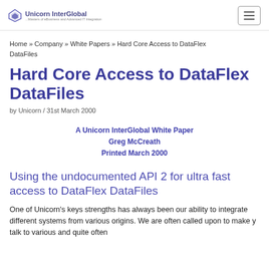Unicorn InterGlobal — Home » Company » White Papers » Hard Core Access to DataFlex DataFiles
Home » Company » White Papers » Hard Core Access to DataFlex DataFiles
Hard Core Access to DataFlex DataFiles
by Unicorn / 31st March 2000
A Unicorn InterGlobal White Paper
Greg McCreath
Printed March 2000
Using the undocumented API 2 for ultra fast access to DataFlex DataFiles
One of Unicorn's keys strengths has always been our ability to integrate different systems from various origins. We are often called upon to make y talk to various and quite often